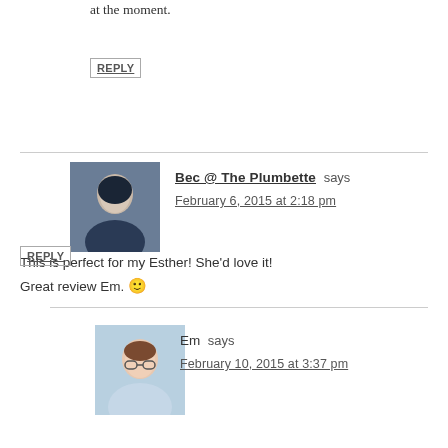at the moment.
REPLY
Bec @ The Plumbette says
February 6, 2015 at 2:18 pm
This is perfect for my Esther! She'd love it! Great review Em. 🙂
REPLY
Em says
February 10, 2015 at 3:37 pm